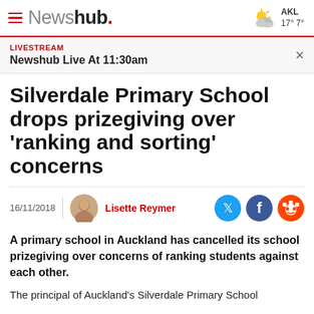Newshub. | AKL 17° 7°
LIVESTREAM
Newshub Live At 11:30am
Silverdale Primary School drops prizegiving over 'ranking and sorting' concerns
16/11/2018 | Lisette Reymer
A primary school in Auckland has cancelled its school prizegiving over concerns of ranking students against each other.
The principal of Auckland's Silverdale Primary School